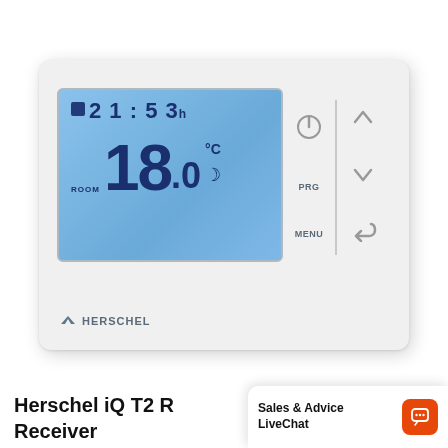[Figure (photo): Herschel iQ T2 thermostat device with blue backlit LCD screen showing time 21:53h and temperature 18.0°C (ROOM), with control buttons (power, up/down arrows, PRG, MENU, back) on the right side. White rectangular device with Herschel branding.]
Herschel iQ T2 R Receiver
Sales & Advice LiveChat